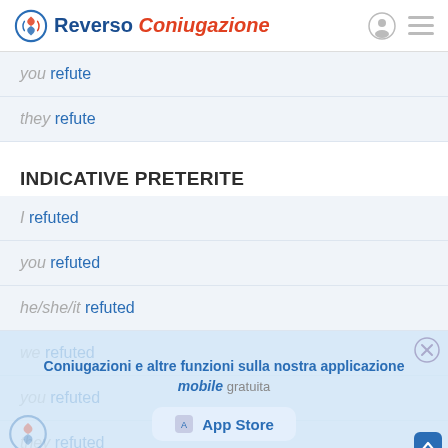Reverso Coniugazione
you refute
they refute
INDICATIVE PRETERITE
I refuted
you refuted
he/she/it refuted
we refuted
you refuted
they refuted
Coniugazioni e altre funzioni sulla nostra applicazione mobile gratuita